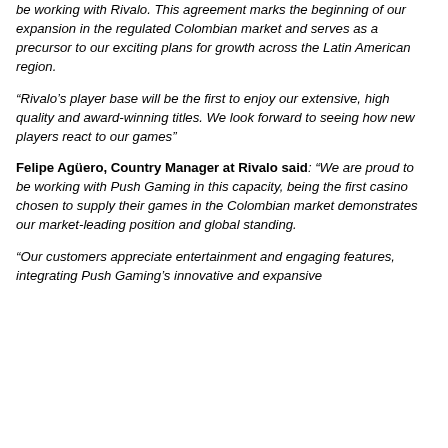be working with Rivalo. This agreement marks the beginning of our expansion in the regulated Colombian market and serves as a precursor to our exciting plans for growth across the Latin American region.
“Rivalo’s player base will be the first to enjoy our extensive, high quality and award-winning titles. We look forward to seeing how new players react to our games”
Felipe Agüero, Country Manager at Rivalo said: “We are proud to be working with Push Gaming in this capacity, being the first casino chosen to supply their games in the Colombian market demonstrates our market-leading position and global standing.
“Our customers appreciate entertainment and engaging features, integrating Push Gaming’s innovative and expansive